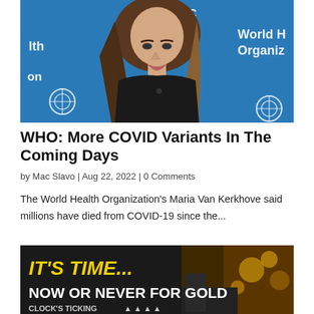[Figure (photo): Woman speaking at a WHO press briefing, with World Health Organization logos visible in the background on a blue banner.]
WHO: More COVID Variants In The Coming Days
by Mac Slavo | Aug 22, 2022 | 0 Comments
The World Health Organization's Maria Van Kerkhove said millions have died from COVID-19 since the...
[Figure (photo): Advertisement banner with yellow and white text on dark background reading IT'S TIME... NOW OR NEVER FOR GOLD, CLOCK'S TICKING, with images of gold and mining scenes.]